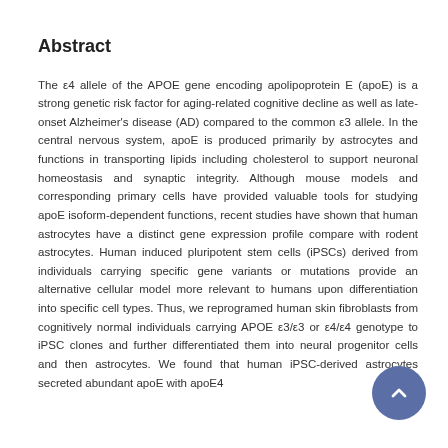Abstract
The ε4 allele of the APOE gene encoding apolipoprotein E (apoE) is a strong genetic risk factor for aging-related cognitive decline as well as late-onset Alzheimer's disease (AD) compared to the common ε3 allele. In the central nervous system, apoE is produced primarily by astrocytes and functions in transporting lipids including cholesterol to support neuronal homeostasis and synaptic integrity. Although mouse models and corresponding primary cells have provided valuable tools for studying apoE isoform-dependent functions, recent studies have shown that human astrocytes have a distinct gene expression profile compare with rodent astrocytes. Human induced pluripotent stem cells (iPSCs) derived from individuals carrying specific gene variants or mutations provide an alternative cellular model more relevant to humans upon differentiation into specific cell types. Thus, we reprogramed human skin fibroblasts from cognitively normal individuals carrying APOE ε3/ε3 or ε4/ε4 genotype to iPSC clones and further differentiated them into neural progenitor cells and then astrocytes. We found that human iPSC-derived astrocytes secreted abundant apoE with apoE4